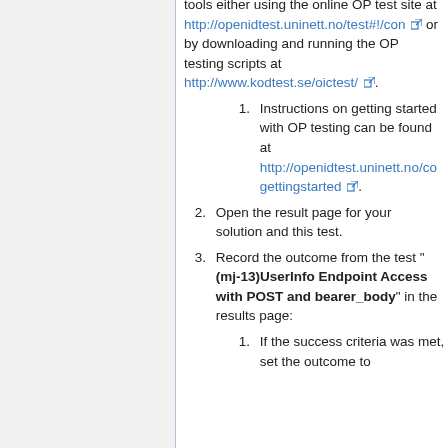tools either using the online OP test site at http://openidtest.uninett.no/test#!/con or by downloading and running the OP testing scripts at http://www.kodtest.se/oictest/.
1. Instructions on getting started with OP testing can be found at http://openidtest.uninett.no/co gettingstarted.
2. Open the result page for your solution and this test.
3. Record the outcome from the test "(mj-13)UserInfo Endpoint Access with POST and bearer_body" in the results page:
1. If the success criteria was met, set the outcome to